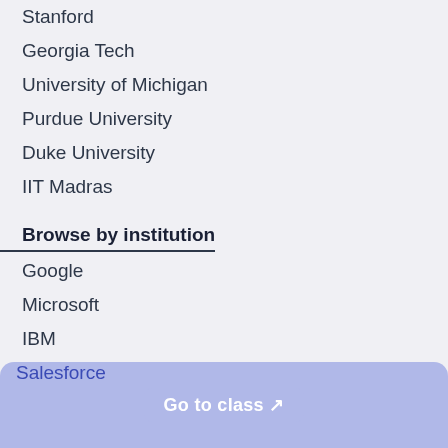Stanford
Georgia Tech
University of Michigan
Purdue University
Duke University
IIT Madras
Browse by institution
Google
Microsoft
IBM
Amazon
Linux Foundation
British Council
Salesforce
Go to class
Rankings